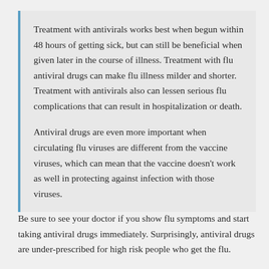Treatment with antivirals works best when begun within 48 hours of getting sick, but can still be beneficial when given later in the course of illness. Treatment with flu antiviral drugs can make flu illness milder and shorter. Treatment with antivirals also can lessen serious flu complications that can result in hospitalization or death.
Antiviral drugs are even more important when circulating flu viruses are different from the vaccine viruses, which can mean that the vaccine doesn't work as well in protecting against infection with those viruses.
Be sure to see your doctor if you show flu symptoms and start taking antiviral drugs immediately. Surprisingly, antiviral drugs are under-prescribed for high risk people who get the flu.